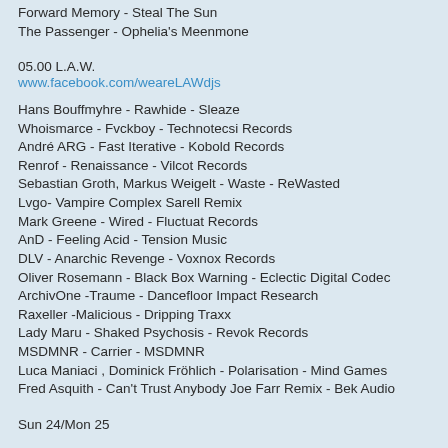Forward Memory - Steal The Sun
The Passenger - Ophelia's Meenmone
05.00 L.A.W.
www.facebook.com/weareLAWdjs
Hans Bouffmyhre - Rawhide - Sleaze
Whoismarce - Fvckboy - Technotecsi Records
André ARG - Fast Iterative - Kobold Records
Renrof - Renaissance - Vilcot Records
Sebastian Groth, Markus Weigelt - Waste - ReWasted
Lvgo- Vampire Complex Sarell Remix
Mark Greene - Wired - Fluctuat Records
AnD - Feeling Acid - Tension Music
DLV - Anarchic Revenge - Voxnox Records
Oliver Rosemann - Black Box Warning - Eclectic Digital Codec
ArchivOne -Traume - Dancefloor Impact Research
Raxeller -Malicious - Dripping Traxx
Lady Maru - Shaked Psychosis - Revok Records
MSDMNR - Carrier - MSDMNR
Luca Maniaci , Dominick Fröhlich - Polarisation - Mind Games
Fred Asquith - Can't Trust Anybody Joe Farr Remix - Bek Audio
Sun 24/Mon 25
00.00 Hysteria! #316
www.bingoplayersmusic.com
Martin Eriksson - Never Really Liked You - Hysteria
Syn Cole & Carla Monroe - Overdrive - Columbia / Sony